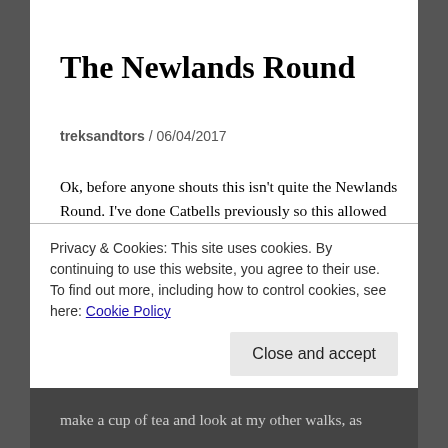The Newlands Round
treksandtors / 06/04/2017
Ok, before anyone shouts this isn't quite the Newlands Round. I've done Catbells previously so this allowed me to park in Little Town and head up to Hause Gate and onto Maiden Moor, thus missing out a short part. Still this is still a pretty big walk and gives one of the best views in the Lake District, the Newlands valley from Dale Head. I'd also say the descent off Robinson down High Snab bank is one of my favourite decent routes as well. I'm not a fan of coming back down, jelly legs and sore knees.
Privacy & Cookies: This site uses cookies. By continuing to use this website, you agree to their use.
To find out more, including how to control cookies, see here: Cookie Policy
make a cup of tea and look at my other walks, as